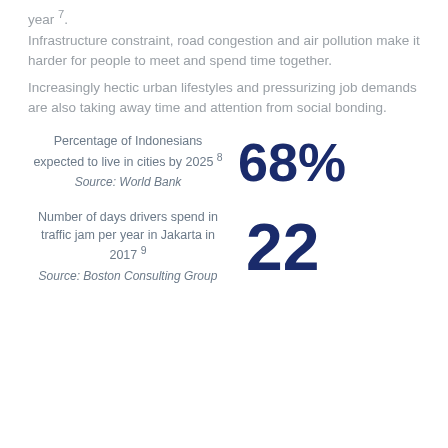year 7.
Infrastructure constraint, road congestion and air pollution make it harder for people to meet and spend time together.
Increasingly hectic urban lifestyles and pressurizing job demands are also taking away time and attention from social bonding.
Percentage of Indonesians expected to live in cities by 2025 8
Source: World Bank
68%
Number of days drivers spend in traffic jam per year in Jakarta in 2017 9
Source: Boston Consulting Group
22